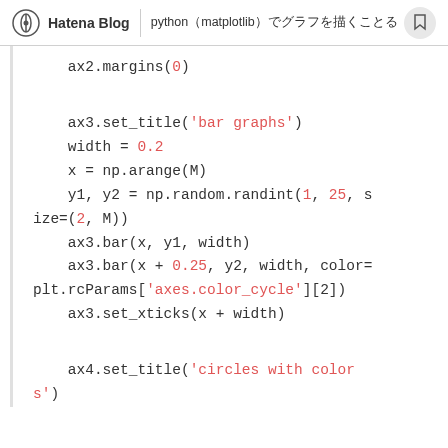Hatena Blog | python matplotlib ...
ax2.margins(0)

ax3.set_title('bar graphs')
width = 0.2
x = np.arange(M)
y1, y2 = np.random.randint(1, 25, size=(2, M))
ax3.bar(x, y1, width)
ax3.bar(x + 0.25, y2, width, color=plt.rcParams['axes.color_cycle'][2])
ax3.set_xticks(x + width)

ax4.set_title('circles with colors')